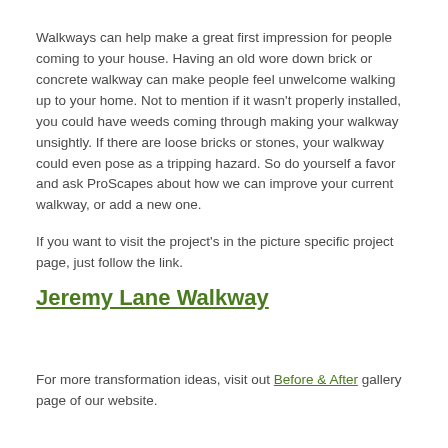Walkways can help make a great first impression for people coming to your house. Having an old wore down brick or concrete walkway can make people feel unwelcome walking up to your home. Not to mention if it wasn't properly installed, you could have weeds coming through making your walkway unsightly. If there are loose bricks or stones, your walkway could even pose as a tripping hazard. So do yourself a favor and ask ProScapes about how we can improve your current walkway, or add a new one.
If you want to visit the project's in the picture specific project page, just follow the link.
Jeremy Lane Walkway
For more transformation ideas, visit out Before & After gallery page of our website.